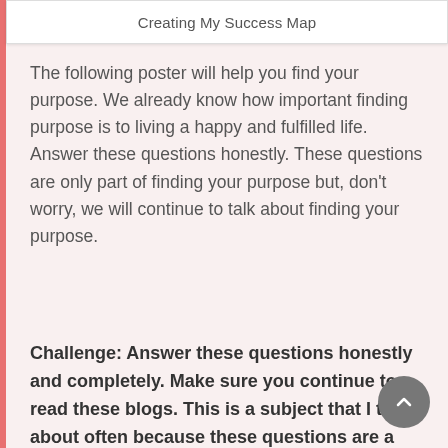Creating My Success Map
The following poster will help you find your purpose. We already know how important finding purpose is to living a happy and fulfilled life. Answer these questions honestly. These questions are only part of finding your purpose but, don't worry, we will continue to talk about finding your purpose.
Challenge: Answer these questions honestly and completely. Make sure you continue to read these blogs. This is a subject that I talk about often because these questions are a